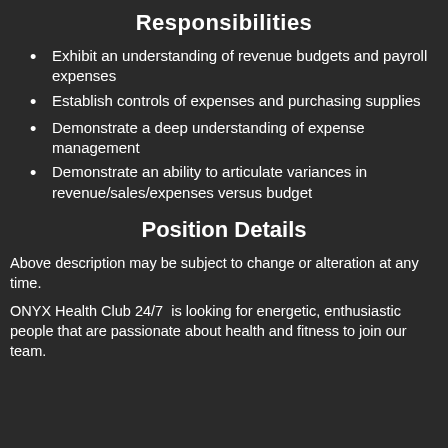Responsibilities
Exhibit an understanding of revenue budgets and payroll expenses
Establish controls of expenses and purchasing supplies
Demonstrate a deep understanding of expense management
Demonstrate an ability to articulate variances in revenue/sales/expenses versus budget
Position Details
Above description may be subject to change or alteration at any time.
ONYX Health Club 24/7 is looking for energetic, enthusiastic people that are passionate about health and fitness to join our team.